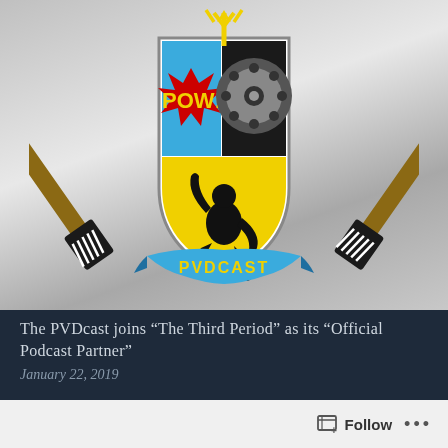[Figure (logo): PVDcast logo: a heraldic shield with crossed hockey sticks, 'POW!' comic book style explosion in blue quadrant, film reel in black quadrant, silhouette of wrestler in yellow quadrant, blue ribbon banner at bottom reading 'PVDCAST', yellow trident above shield]
The PVDcast joins “The Third Period” as its “Official Podcast Partner”
January 22, 2019